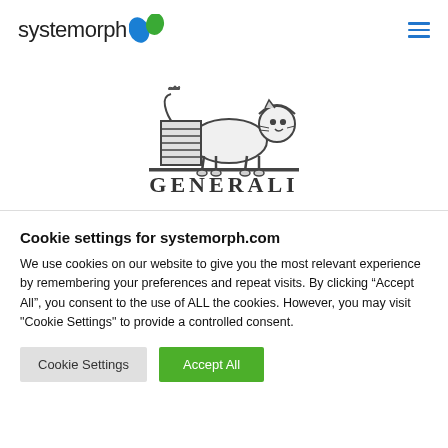[Figure (logo): Systemorph logo with butterfly icon in blue on left, hamburger menu icon in blue on right]
[Figure (logo): Generali lion logo in dark grey with text GENERALI below]
Cookie settings for systemorph.com
We use cookies on our website to give you the most relevant experience by remembering your preferences and repeat visits. By clicking “Accept All”, you consent to the use of ALL the cookies. However, you may visit "Cookie Settings" to provide a controlled consent.
Cookie Settings | Accept All